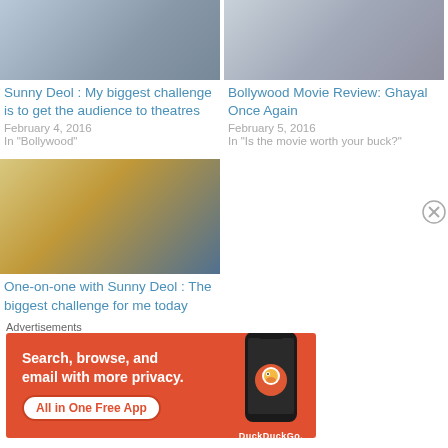[Figure (photo): Movie/promotional image for Sunny Deol article]
Sunny Deol : My biggest challenge is to get the audience to theatres
February 4, 2016
In "Bollywood"
[Figure (photo): Movie/promotional image for Bollywood Movie Review]
Bollywood Movie Review: Ghayal Once Again
February 5, 2016
In "Is the movie worth your buck?"
[Figure (photo): Movie promotional image showing action scene with Sunny Deol]
One-on-one with Sunny Deol : The biggest challenge for me today
Advertisements
[Figure (illustration): DuckDuckGo advertisement banner: Search, browse, and email with more privacy. All in One Free App]